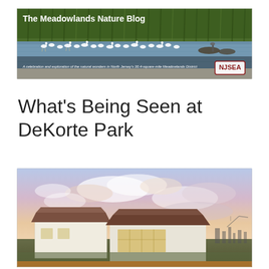[Figure (photo): Banner header photo for 'The Meadowlands Nature Blog' showing white birds (egrets/ibis) wading in water with green reeds in background. Subtitle: 'A celebration and exploration of the natural wonders in North Jersey's 30.4-square-mile Meadowlands District'. NJSEA logo visible in lower right.]
What's Being Seen at DeKorte Park
[Figure (photo): Photograph of a building at DeKorte Park at sunset/dusk with a colorful sky featuring pink and blue clouds. A low modern building with a hip roof and large windows is visible. Industrial skyline faintly visible to the right in the background.]